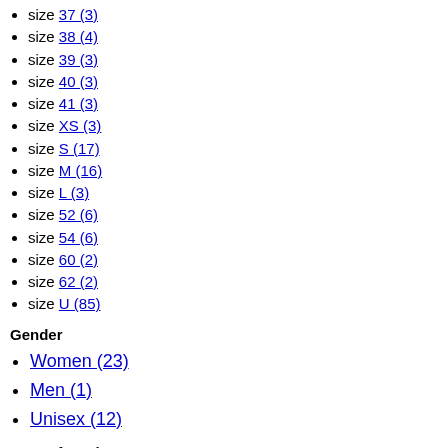size 37 (3)
size 38 (4)
size 39 (3)
size 40 (3)
size 41 (3)
size XS (3)
size S (17)
size M (16)
size L (3)
size 52 (6)
size 54 (6)
size 60 (2)
size 62 (2)
size U (85)
Gender
Women (23)
Men (1)
Unisex (12)
Type of product
Bracelets (9)